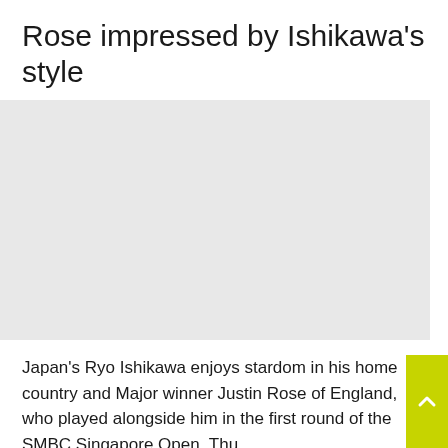Rose impressed by Ishikawa’s style
[Figure (photo): A light grey placeholder image area, likely a photograph related to the article about Ryo Ishikawa and Justin Rose]
Japan’s Ryo Ishikawa enjoys stardom in his home country and Major winner Justin Rose of England, who played alongside him in the first round of the SMBC Singapore Open, Thursday,